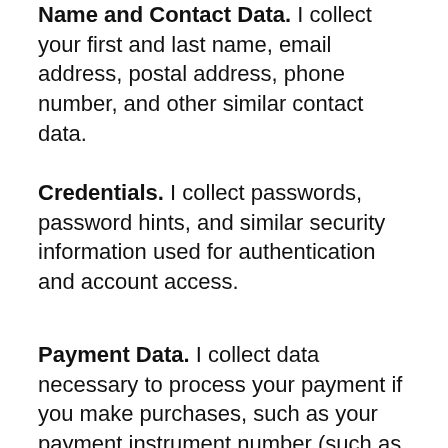Name and Contact Data. I collect your first and last name, email address, postal address, phone number, and other similar contact data.
Credentials. I collect passwords, password hints, and similar security information used for authentication and account access.
Payment Data. I collect data necessary to process your payment if you make purchases, such as your payment instrument number (such as a credit